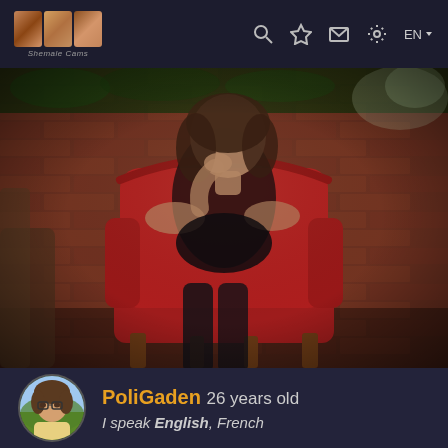Navigation bar with logo, search, favorite, message, settings icons and EN language selector
[Figure (photo): Young woman in black outfit seated on a red velvet armchair against a brick wall with moss. She has brown hair and is posing thoughtfully with her hand near her face. Black stockings visible.]
PoliGaden 26 years old
I speak English, French